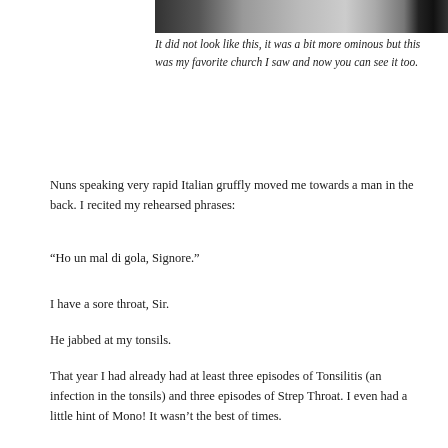[Figure (photo): Partial photo of a church, cropped at top, showing architectural details]
It did not look like this, it was a bit more ominous but this was my favorite church I saw and now you can see it too.
Nuns speaking very rapid Italian gruffly moved me towards a man in the back. I recited my rehearsed phrases:
“Ho un mal di gola, Signore.”
I have a sore throat, Sir.
He jabbed at my tonsils.
That year I had already had at least three episodes of Tonsilitis (an infection in the tonsils) and three episodes of Strep Throat. I even had a little hint of Mono! It wasn’t the best of times.